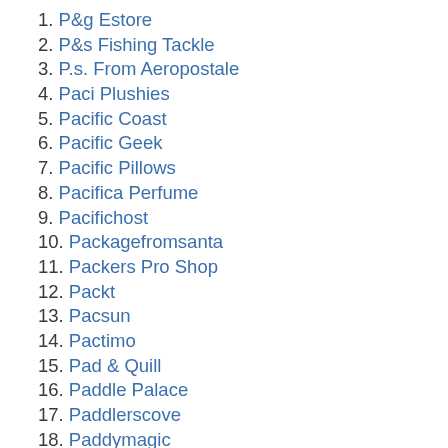1. P&g Estore
2. P&s Fishing Tackle
3. P.s. From Aeropostale
4. Paci Plushies
5. Pacific Coast
6. Pacific Geek
7. Pacific Pillows
8. Pacifica Perfume
9. Pacifichost
10. Packagefromsanta
11. Packers Pro Shop
12. Packt
13. Pacsun
14. Pactimo
15. Pad & Quill
16. Paddle Palace
17. Paddlerscove
18. Paddymagic
19. Paid Surveys At Home
20. Paigepremiumdenim
21. Painful Pleasures
22. Paint Your Life
23. ...